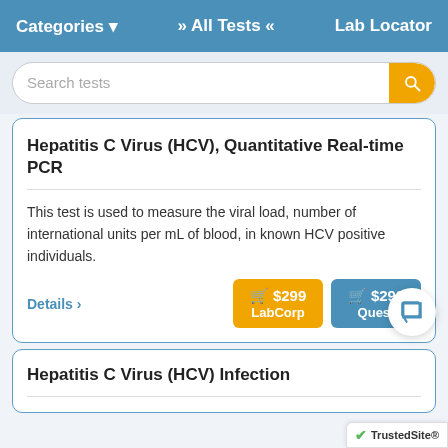Categories ▾   » All Tests «   Lab Locator
Search tests
Hepatitis C Virus (HCV), Quantitative Real-time PCR
This test is used to measure the viral load, number of international units per mL of blood, in known HCV positive individuals.
Details ›
🛒 $299 LabCorp
🛒 $299 Quest
Hepatitis C Virus (HCV) Infection